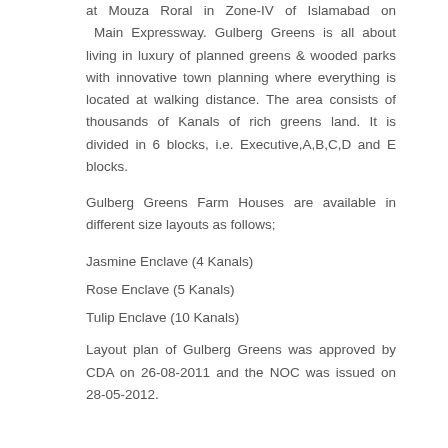at Mouza Roral in Zone-IV of Islamabad on Main Expressway. Gulberg Greens is all about living in luxury of planned greens & wooded parks with innovative town planning where everything is located at walking distance. The area consists of thousands of Kanals of rich greens land. It is divided in 6 blocks, i.e. Executive,A,B,C,D and E blocks.
Gulberg Greens Farm Houses are available in different size layouts as follows;
Jasmine Enclave (4 Kanals)
Rose Enclave (5 Kanals)
Tulip Enclave (10 Kanals)
Layout plan of Gulberg Greens was approved by CDA on 26-08-2011 and the NOC was issued on 28-05-2012.
Gulberg Residencia
Gulberg Residencia is located about 6 to 7 KM off the